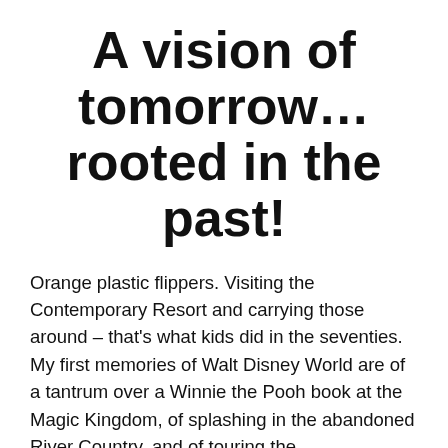A vision of tomorrow…rooted in the past!
Orange plastic flippers. Visiting the Contemporary Resort and carrying those around – that's what kids did in the seventies. My first memories of Walt Disney World are of a tantrum over a Winnie the Pooh book at the Magic Kingdom, of splashing in the abandoned River Country, and of touring the Contemporary's historic A-frame structure
Continue reading →